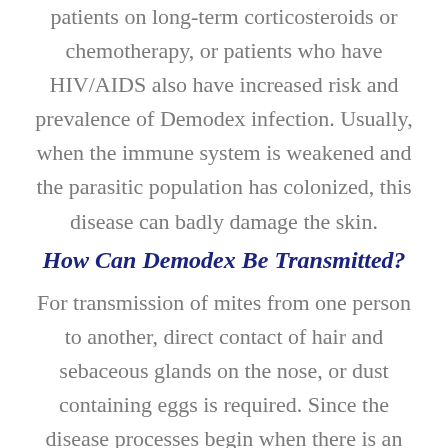patients on long-term corticosteroids or chemotherapy, or patients who have HIV/AIDS also have increased risk and prevalence of Demodex infection. Usually, when the immune system is weakened and the parasitic population has colonized, this disease can badly damage the skin.
How Can Demodex Be Transmitted?
For transmission of mites from one person to another, direct contact of hair and sebaceous glands on the nose, or dust containing eggs is required. Since the disease processes begin when there is an